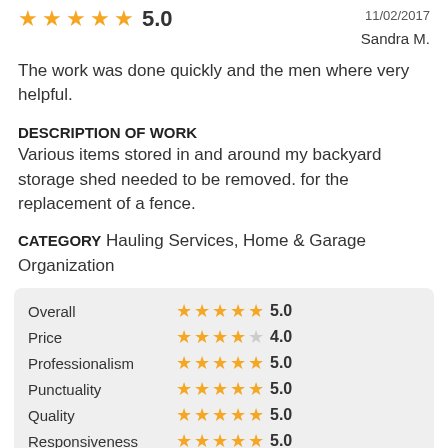5.0
11/02/2017
Sandra M.
The work was done quickly and the men where very helpful.
DESCRIPTION OF WORK
Various items stored in and around my backyard storage shed needed to be removed. for the replacement of a fence.
CATEGORY Hauling Services, Home & Garage Organization
| Category | Stars | Rating |
| --- | --- | --- |
| Overall | ★★★★★ | 5.0 |
| Price | ★★★★★ | 4.0 |
| Professionalism | ★★★★★ | 5.0 |
| Punctuality | ★★★★★ | 5.0 |
| Quality | ★★★★★ | 5.0 |
| Responsiveness | ★★★★★ | 5.0 |